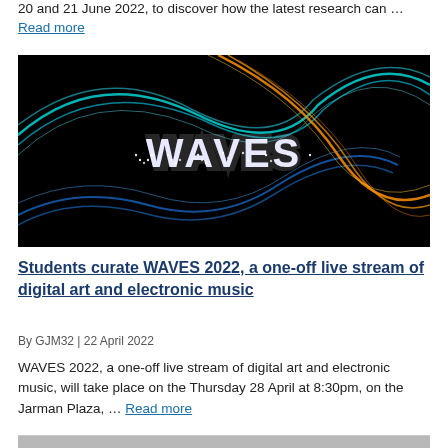20 and 21 June 2022, to discover how the latest research can …
Read more
[Figure (photo): WAVES 2022 promotional image: glowing 'WAVES' text in white LED-style letters against a black background with colorful flowing light ribbons in blue, teal, and orange/gold swirling around it.]
Students curate WAVES 2022, a one-off live stream of digital art and electronic music
By GJM32 | 22 April 2022
WAVES 2022, a one-off live stream of digital art and electronic music, will take place on the Thursday 28 April at 8:30pm, on the Jarman Plaza, … Read more